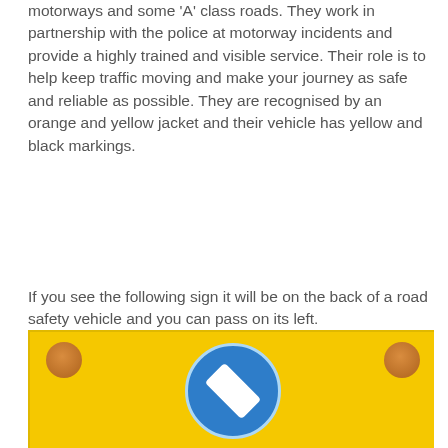motorways and some 'A' class roads. They work in partnership with the police at motorway incidents and provide a highly trained and visible service. Their role is to help keep traffic moving and make your journey as safe and reliable as possible. They are recognised by an orange and yellow jacket and their vehicle has yellow and black markings.
If you see the following sign it will be on the back of a road safety vehicle and you can pass on its left.
[Figure (photo): A yellow road safety vehicle sign with two amber circular lights in the top corners and a blue circular sign in the centre showing a white diagonal arrow pointing left, indicating vehicles may pass on the left.]